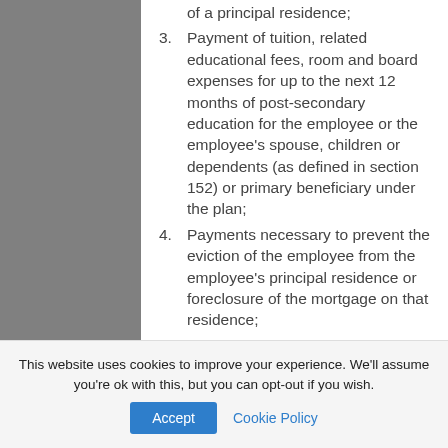of a principal residence;
3. Payment of tuition, related educational fees, room and board expenses for up to the next 12 months of post-secondary education for the employee or the employee's spouse, children or dependents (as defined in section 152) or primary beneficiary under the plan;
4. Payments necessary to prevent the eviction of the employee from the employee's principal residence or foreclosure of the mortgage on that residence;
5. Payments for burial or funeral
This website uses cookies to improve your experience. We'll assume you're ok with this, but you can opt-out if you wish.
Accept  Cookie Policy